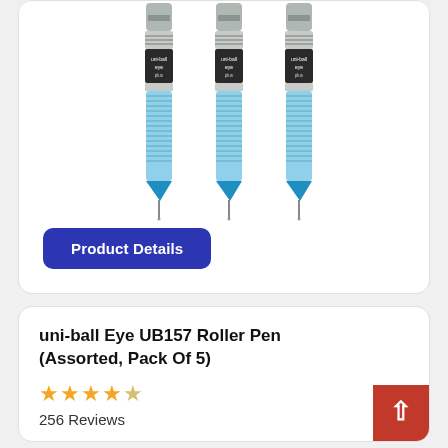[Figure (photo): Three uni-ball Eye UB rollerball pens with blue ink shown vertically, with silver barrel and blue grip section and blue ink tips pointing downward]
Product Details
uni-ball Eye UB157 Roller Pen (Assorted, Pack Of 5)
★★★★☆ 256 Reviews